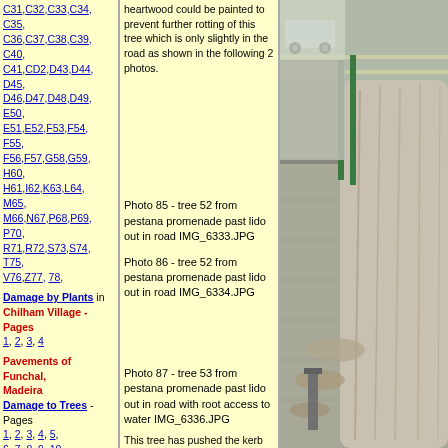C31,C32,C33,C34, C35, C36,C37,C38,C39, C40, C41,CD2,D43,D44, D45, D46,D47,D48,D49, E50, E51,E52,F53,F54, F55, F56,F57,G58,G59, H60, H61,I62,K63,L64, M65, M66,N67,P68,P69, P70, R71,R72,S73,S74, T75, V76,Z77, 78,
Damage by Plants in Chilham Village - Pages 1, 2, 3, 4
Pavements of Funchal, Madeira Damage to Trees - Pages 1, 2, 3, 4, 5, 6, 7, 8, 9, 10, 11, 12, 13 for trees 1-54, 14, 15, 16, 17, 18, 19, 20, 21, 22, 23, 24, 25, for trees 55-95, 26, 27, 28, 29, 30, 31, 32, 33, 34, 35, 36, 37, for trees 95-133,
heartwood could be painted to prevent further rotting of this tree which is only slightly in the road as shown in the following 2 photos.
Photo 85 - tree 52 from pestana promenade past lido out in road IMG_6333.JPG
Photo 86 - tree 52 from pestana promenade past lido out in road IMG_6334.JPG
Photo 87 - tree 53 from pestana promenade past lido out in road with root access to water IMG_6336.JPG
This tree has pushed the kerb out of line and decided to fall in love with a road drain. We do not know if they still courting or whether they are joined in
[Figure (photo): Photo of a large tree trunk on a pavement/sidewalk area near a road, with roots visible pushing up the ground, a drain or post visible nearby, and a road with a car in the background.]